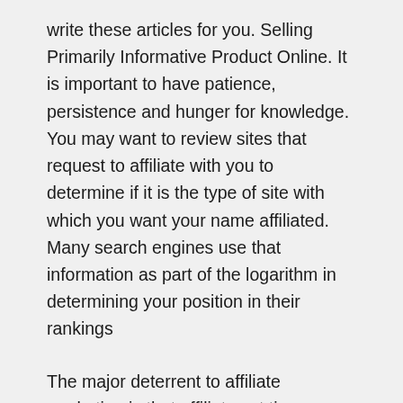write these articles for you. Selling Primarily Informative Product Online. It is important to have patience, persistence and hunger for knowledge. You may want to review sites that request to affiliate with you to determine if it is the type of site with which you want your name affiliated. Many search engines use that information as part of the logarithm in determining your position in their rankings
The major deterrent to affiliate marketing is that affiliates at times are not paid satisfactorily for their contributions in building the network. Your website is the jump off point of all your marketing efforts. Distributors are paid for their sales, as well as for their endeavors to build the network by...